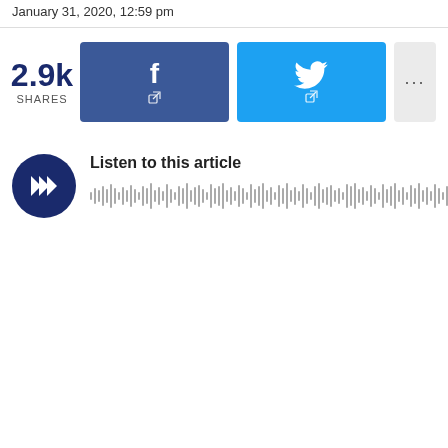January 31, 2020, 12:59 pm
[Figure (infographic): Social share count showing 2.9k SHARES, Facebook share button, Twitter share button, and a more options button (...)]
[Figure (infographic): Audio player widget with dark circular play button showing forward-steps icon, 'Listen to this article' label, and a waveform audio progress bar]